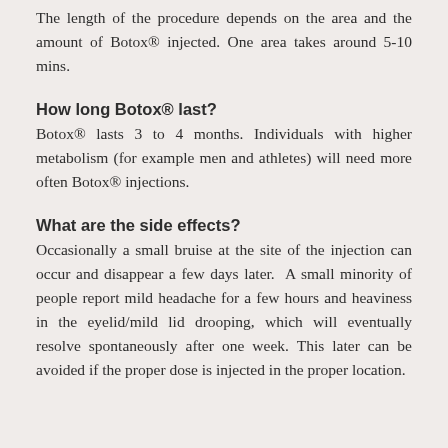The length of the procedure depends on the area and the amount of Botox® injected. One area takes around 5-10 mins.
How long Botox® last?
Botox® lasts 3 to 4 months. Individuals with higher metabolism (for example men and athletes) will need more often Botox® injections.
What are the side effects?
Occasionally a small bruise at the site of the injection can occur and disappear a few days later. A small minority of people report mild headache for a few hours and heaviness in the eyelid/mild lid drooping, which will eventually resolve spontaneously after one week. This later can be avoided if the proper dose is injected in the proper location.